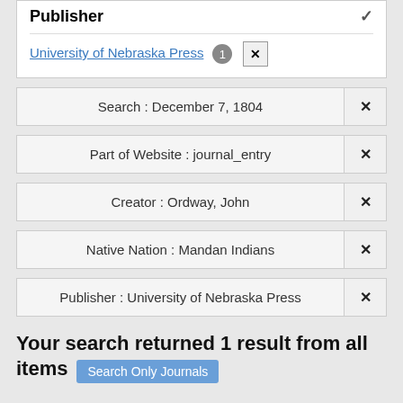Publisher
University of Nebraska Press 1 ×
Search : December 7, 1804 ×
Part of Website : journal_entry ×
Creator : Ordway, John ×
Native Nation : Mandan Indians ×
Publisher : University of Nebraska Press ×
Your search returned 1 result from all items Search Only Journals